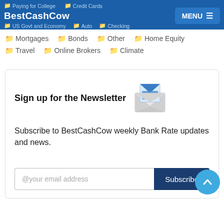BestCashCow | Paying for College | Credit Cards | US Govt and Economy | Auto | Checking | MENU
Mortgages
Bonds
Other
Home Equity
Travel
Online Brokers
Climate
Sign up for the Newsletter
Subscribe to BestCashCow weekly Bank Rate updates and news.
[Figure (illustration): Open envelope / email icon in blue and grey]